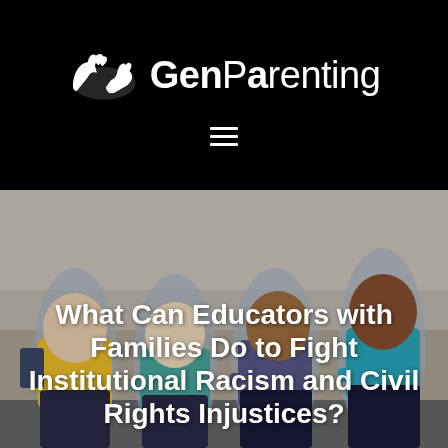GenParenting
[Figure (photo): Four diverse children sitting together smiling outdoors, with text overlay about fighting institutional racism and civil rights injustices]
What Can Educators with Families Do to Fight Institutional Racism and Civil Rights Injustices?